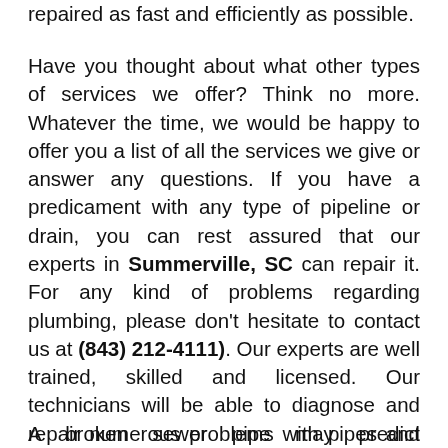repaired as fast and efficiently as possible.
Have you thought about what other types of services we offer? Think no more. Whatever the time, we would be happy to offer you a list of all the services we give or answer any questions. If you have a predicament with any type of pipeline or drain, you can rest assured that our experts in Summerville, SC can repair it. For any kind of problems regarding plumbing, please don't hesitate to contact us at (843) 212-4111). Our experts are well trained, skilled and licensed. Our technicians will be able to diagnose and repair numerous problems with pipes and drains. Our plumbing technicians are well trained to treat the pipes or drain linings of commercial and residential properties.
A broken sewer pipe may predict destruction for